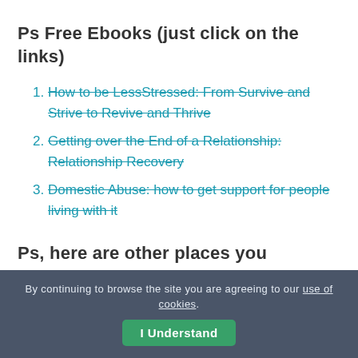Ps Free Ebooks (just click on the links)
How to be LessStressed: From Survive and Strive to Revive and Thrive
Getting over the End of a Relationship: Relationship Recovery
Domestic Abuse: how to get support for people living with it
Ps, here are other places you
By continuing to browse the site you are agreeing to our use of cookies.